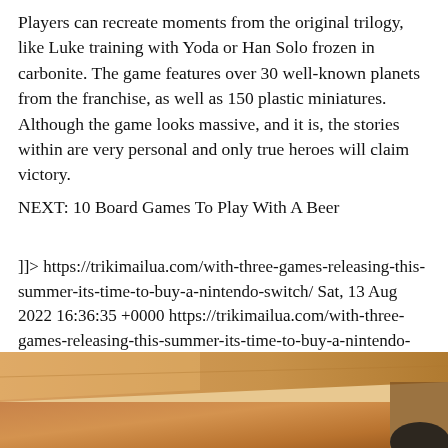Players can recreate moments from the original trilogy, like Luke training with Yoda or Han Solo frozen in carbonite. The game features over 30 well-known planets from the franchise, as well as 150 plastic miniatures. Although the game looks massive, and it is, the stories within are very personal and only true heroes will claim victory.
NEXT: 10 Board Games To Play With A Beer
]]> https://trikimailua.com/with-three-games-releasing-this-summer-its-time-to-buy-a-nintendo-switch/ Sat, 13 Aug 2022 16:36:35 +0000 https://trikimailua.com/with-three-games-releasing-this-summer-its-time-to-buy-a-nintendo-switch/
[Figure (photo): Partial photo of a brown cardboard box with a dark blurred element at the bottom right corner]